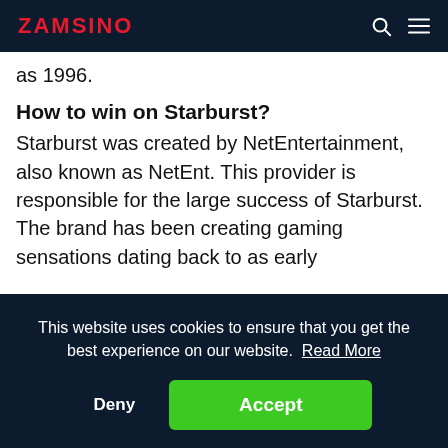ZAMSINO
as 1996.
How to win on Starburst?
Starburst was created by NetEntertainment, also known as NetEnt. This provider is responsible for the large success of Starburst. The brand has been creating gaming sensations dating back to as early
This website uses cookies to ensure that you get the best experience on our website. Read More
Deny
Accept
you can manipulate the odds in favour of a win.